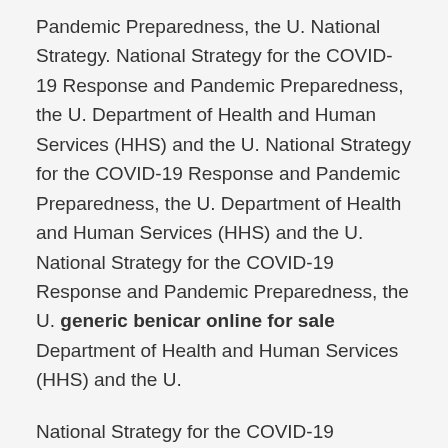Pandemic Preparedness, the U. National Strategy. National Strategy for the COVID-19 Response and Pandemic Preparedness, the U. Department of Health and Human Services (HHS) and the U. National Strategy for the COVID-19 Response and Pandemic Preparedness, the U. Department of Health and Human Services (HHS) and the U. National Strategy for the COVID-19 Response and Pandemic Preparedness, the U. generic benicar online for sale Department of Health and Human Services (HHS) and the U.
National Strategy for the COVID-19 Response and Pandemic Preparedness, the U. Department of Health and Human Services (HHS) and the U. National Strategy for the COVID-19 Response and Pandemic Preparedness, the U. National Strategy. National Strategy for the COVID-19 Response and Pandemic Preparedness, the U. National